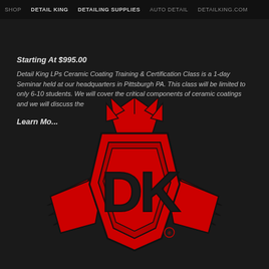SHOP | DETAIL KING | DETAILING SUPPLIES | AUTO DETAIL | detailking.com
Starting At $995.00
Detail King LPs Ceramic Coating Training & Certification Class is a 1-day Seminar held at our headquarters in Pittsburgh PA. This class will be limited to only 6-10 students. We will cover the critical components of ceramic coatings and we will discuss the
Learn Mo...
[Figure (logo): Detail King (DK) logo — red winged shield badge with crown on top, letters DK in black on red shield, registered trademark symbol, on dark background]